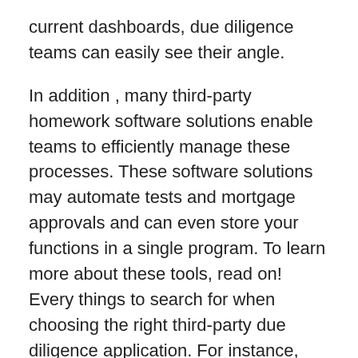current dashboards, due diligence teams can easily see their angle.
In addition , many third-party homework software solutions enable teams to efficiently manage these processes. These software solutions may automate tests and mortgage approvals and can even store your functions in a single program. To learn more about these tools, read on! Every things to search for when choosing the right third-party due diligence application. For instance, third-party due diligence software can make the procedure more efficient by reducing the time and money squandered in manual research.
In most cases, due diligence computer software